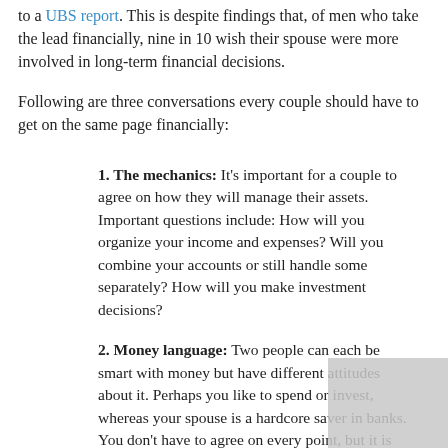to a UBS report. This is despite findings that, of men who take the lead financially, nine in 10 wish their spouse were more involved in long-term financial decisions.
Following are three conversations every couple should have to get on the same page financially:
1. The mechanics: It’s important for a couple to agree on how they will manage their assets. Important questions include: How will you organize your income and expenses? Will you combine your accounts or still handle some separately? How will you make investment decisions?
2. Money language: Two people can each be smart with money but have different attitudes about it. Perhaps you like to spend or invest, whereas your spouse is a hardcore saver in banks. You don’t have to agree on every point, but it is vital to be aware of one another’s “money language” and to agree on which budgeting decisions you will make together.